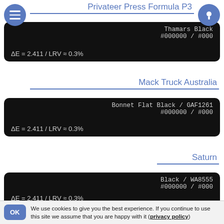Privateer Press Formula P3
[Figure (infographic): Black color swatch card showing Thamars Black color with hex #000000 / #000 and delta E = 2.411 / LRV ≈ 0.3%]
Mack Truck Australia
[Figure (infographic): Black color swatch card showing Bonnet Flat Black / GAF1261 with hex #000000 / #000 and delta E = 2.411 / LRV ≈ 0.3%]
Saturn
[Figure (infographic): Black color swatch card showing Black / WA8555 with hex #000000 / #000 and delta E = 2.411 / LRV ≈ 0.3%]
Reaper Master
[Figure (infographic): Black color swatch card showing Pure Black (9037) with hex #000000 / #000]
We use cookies to give you the best experience. If you continue to use this site we assume that you are happy with it (privacy policy)